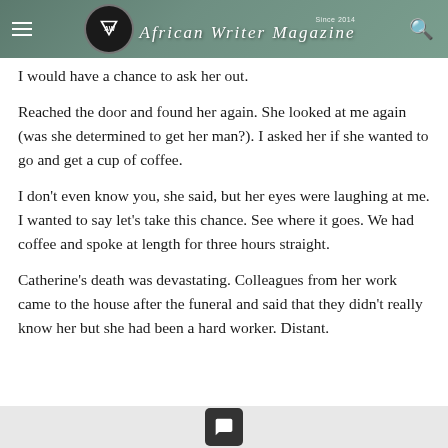African Writer Magazine — Since 2014
I would have a chance to ask her out.
Reached the door and found her again. She looked at me again (was she determined to get her man?). I asked her if she wanted to go and get a cup of coffee.
I don't even know you, she said, but her eyes were laughing at me. I wanted to say let's take this chance. See where it goes. We had coffee and spoke at length for three hours straight.
Catherine's death was devastating. Colleagues from her work came to the house after the funeral and said that they didn't really know her but she had been a hard worker. Distant.